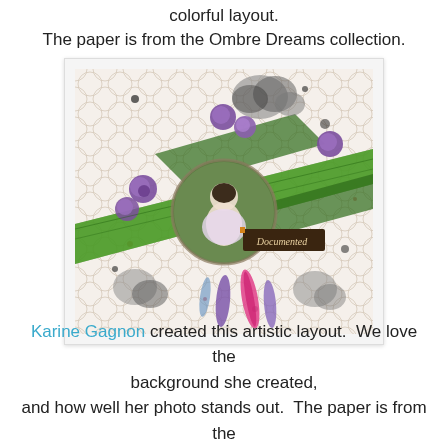colorful layout.
The paper is from the Ombre Dreams collection.
[Figure (photo): A colorful scrapbook layout featuring a central circular photo of a woman, surrounded by purple roses, green mesh ribbon, feathers in pink and purple, and black-and-white floral elements on a white moroccan tile patterned background. A tag reads 'Documented'.]
Karine Gagnon created this artistic layout.  We love the background she created, and how well her photo stands out.  The paper is from the